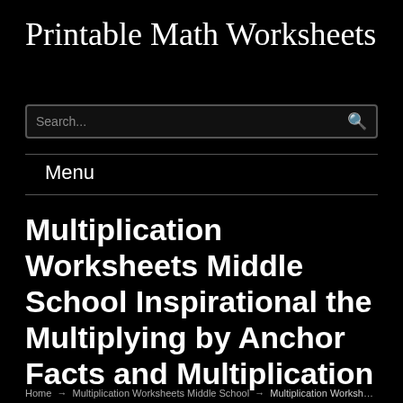Printable Math Worksheets
Menu
Multiplication Worksheets Middle School Inspirational the Multiplying by Anchor Facts and Multiplication
Home → Multiplication Worksheets Middle School → Multiplication Worksheets